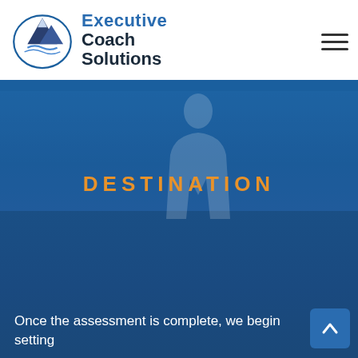Executive Coach Solutions
DESTINATION
Once the assessment is complete, we begin setting